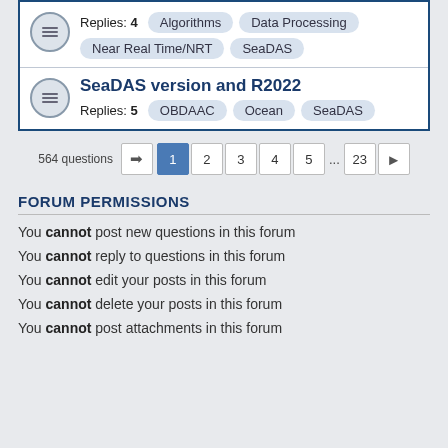Replies: 4  Algorithms  Data Processing  Near Real Time/NRT  SeaDAS
SeaDAS version and R2022
Replies: 5  OBDAAC  Ocean  SeaDAS
564 questions  1  2  3  4  5  ...  23
FORUM PERMISSIONS
You cannot post new questions in this forum
You cannot reply to questions in this forum
You cannot edit your posts in this forum
You cannot delete your posts in this forum
You cannot post attachments in this forum